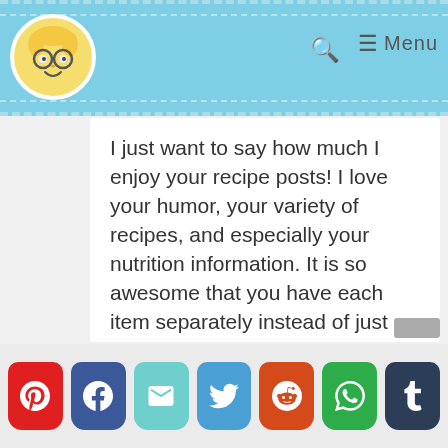Menu
I just want to say how much I enjoy your recipe posts! I love your humor, your variety of recipes, and especially your nutrition information. It is so awesome that you have each item separately instead of just a grand total, making it so easy to make a change/addition if so desired. Thanks for making my journey easier and flavorful!!
[Figure (infographic): Social share buttons: Pinterest, Facebook, Email, Twitter, Reddit, WhatsApp, Tumblr]